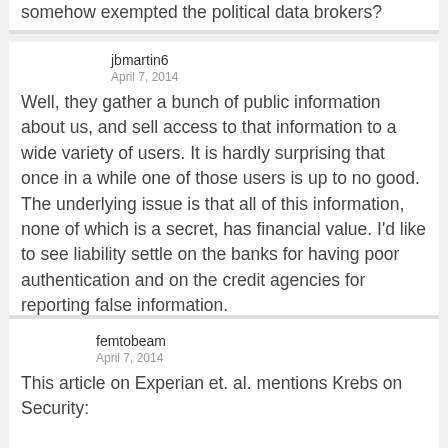somehow exempted the political data brokers?
jbmartin6
April 7, 2014
Well, they gather a bunch of public information about us, and sell access to that information to a wide variety of users. It is hardly surprising that once in a while one of those users is up to no good. The underlying issue is that all of this information, none of which is a secret, has financial value. I'd like to see liability settle on the banks for having poor authentication and on the credit agencies for reporting false information.
femtobeam
April 7, 2014
This article on Experian et. al. mentions Krebs on Security:
http://news.softpedia.com/news/Experian-Defends-Itself-in-Data-Breach-Case